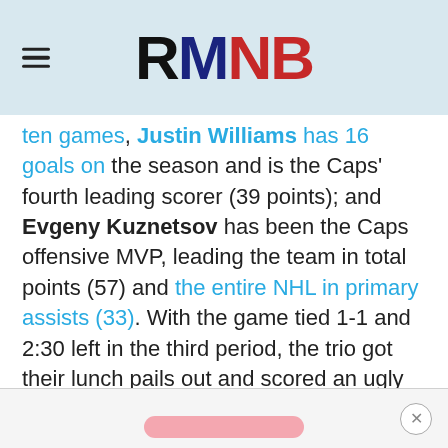RMNB
ten games, Justin Williams has 16 goals on the season and is the Caps' fourth leading scorer (39 points); and Evgeny Kuznetsov has been the Caps offensive MVP, leading the team in total points (57) and the entire NHL in primary assists (33). With the game tied 1-1 and 2:30 left in the third period, the trio got their lunch pails out and scored an ugly goal to win the game.